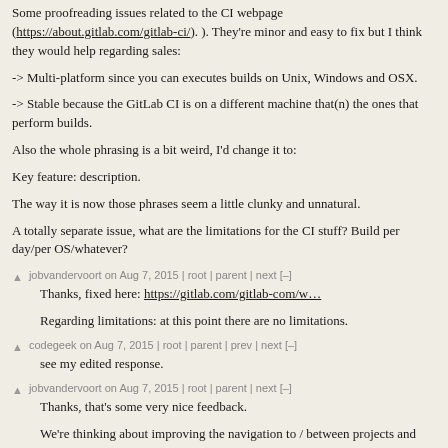Some proofreading issues related to the CI webpage (https://about.gitlab.com/gitlab-ci/). ). They're minor and easy to fix but I think they would help regarding sales:
-> Multi-platform since you can executes builds on Unix, Windows and OSX.
-> Stable because the GitLab CI is on a different machine that(n) the ones that perform builds.
Also the whole phrasing is a bit weird, I'd change it to:
Key feature: description.
The way it is now those phrases seem a little clunky and unnatural.
A totally separate issue, what are the limitations for the CI stuff? Build per day/per OS/whatever?
jobvandervoort on Aug 7, 2015 | root | parent | next [–]
Thanks, fixed here: https://gitlab.com/gitlab-com/w…
Regarding limitations: at this point there are no limitations.
codegeek on Aug 7, 2015 | root | parent | prev | next [–]
see my edited response.
jobvandervoort on Aug 7, 2015 | root | parent | next [–]
Thanks, that's some very nice feedback.
We're thinking about improving the navigation to / between projects and groups. We'll probably do something similar to